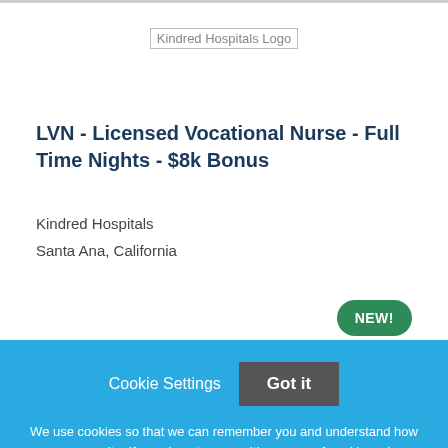[Figure (logo): Kindred Hospitals Logo placeholder image]
LVN - Licensed Vocational Nurse - Full Time Nights - $8k Bonus
Kindred Hospitals
Santa Ana, California
NEW!
Cookie Settings
Got it
We use cookies so that we can remember you and understand how you use our site. If you do not agree with our use of cookies, please change the current settings found in our Cookie Policy. Otherwise, you agree to the use of the cookies as they are currently set.